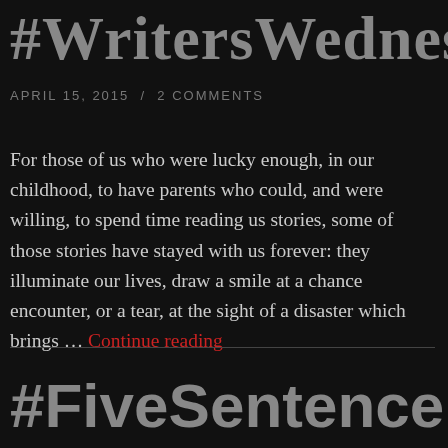#WritersWednesday
APRIL 15, 2015  /  2 COMMENTS
For those of us who were lucky enough, in our childhood, to have parents who could, and were willing, to spend time reading us stories, some of those stories have stayed with us forever: they illuminate our lives, draw a smile at a chance encounter, or a tear, at the sight of a disaster which brings … Continue reading
#FiveSentenceFic